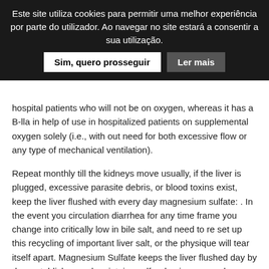Este site utiliza cookies para permitir uma melhor experiência por parte do utilizador. Ao navegar no site estará a consentir a sua utilização. Sim, quero prosseguir  Ler mais
hospital patients who will not be on oxygen, whereas it has a B-lla in help of use in hospitalized patients on supplemental oxygen solely (i.e., with out need for both excessive flow or any type of mechanical ventilation).
Repeat monthly till the kidneys move usually, if the liver is plugged, excessive parasite debris, or blood toxins exist, keep the liver flushed with every day magnesium sulfate: . In the event you circulation diarrhea for any time frame you change into critically low in bile salt, and need to re set up this recycling of important liver salt, or the physique will tear itself apart. Magnesium Sulfate keeps the liver flushed day by day, establishes and maintains sulfur dominance, and provides an available source of Magnesium. The liver has a lifetime how long does stromectol work most vitamin A dose, do not use it up early, I ramped down from 200,000 units to 60,000 models in a month, that's 4x the utmost suggested, but about